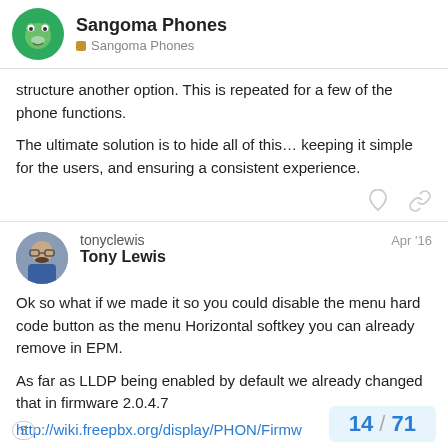Sangoma Phones / Sangoma Phones
structure another option. This is repeated for a few of the phone functions.
The ultimate solution is to hide all of this… keeping it simple for the users, and ensuring a consistent experience.
tonyclewis Tony Lewis Apr '16
Ok so what if we made it so you could disable the menu hard code button as the menu Horizontal softkey you can already remove in EPM.
As far as LLDP being enabled by default we already changed that in firmware 2.0.4.7
http://wiki.freepbx.org/display/PHON/Firmw
5   14 / 71